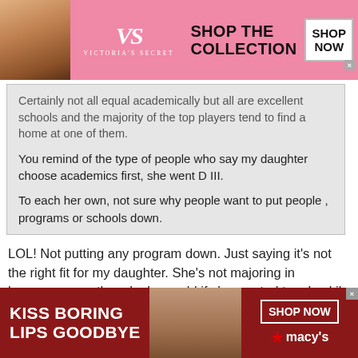[Figure (infographic): Victoria's Secret top advertisement banner with pink background, model photo on left, VS logo and 'SHOP THE COLLECTION' text, and 'SHOP NOW' button]
Certainly not all equal academically but all are excellent schools and the majority of the top players tend to find a home at one of them.

You remind of the type of people who say my daughter choose academics first, she went D III.

To each her own, not sure why people want to put people , programs or schools down.
LOL! Not putting any program down. Just saying it's not the right fit for my daughter. She's not majoring in lacrosse, even though she could if she wanted too. Luckily some girls have options. This is no accident. It's due to sacrifice and hard work. Good luck to all!
[Figure (infographic): Macy's bottom advertisement banner with dark red background, model with red lips, 'KISS BORING LIPS GOODBYE' text, 'SHOP NOW' button, and Macy's star logo]